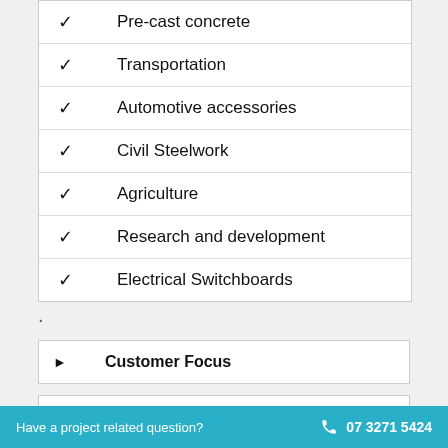Pre-cast concrete
Transportation
Automotive accessories
Civil Steelwork
Agriculture
Research and development
Electrical Switchboards
.
Customer Focus
Precision Engineering Facilities
Have a project related question?  07 3271 5424